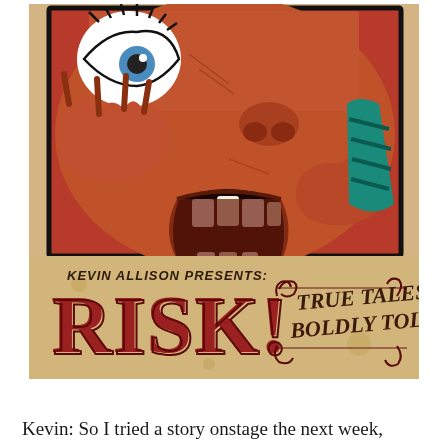[Figure (illustration): RISK! poster image. Top portion shows a comic-book style close-up illustration of a person with a wide-open screaming mouth, one bulging eye, hands near face, and a striped teal tie visible, on a red background with black border. Below the illustration on a tan/beige aged-paper background: italic text 'KEVIN ALLISON PRESENTS:' followed by large decorative red lettering 'RISK!' with a vintage circus/carnival style. To the right of RISK! is ornate text reading 'TRUE TALES BOLDLY TOLD' with decorative swirls.]
Kevin: So I tried a story onstage the next week,